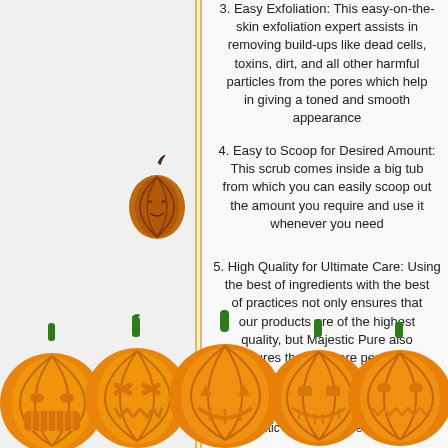3. Easy Exfoliation: This easy-on-the-skin exfoliation expert assists in removing build-ups like dead cells, toxins, dirt, and all other harmful particles from the pores which help in giving a toned and smooth appearance
4. Easy to Scoop for Desired Amount: This scrub comes inside a big tub from which you can easily scoop out the amount you require and use it whenever you need
5. High Quality for Ultimate Care: Using the best of ingredients with the best of practices not only ensures that our products are of the highest quality, but Majestic Pure also ensures that they are perfect for your various self-care.
Majestic Pure Cosmeceuticals, we
[Figure (illustration): Small pumpkin illustration on left side]
[Figure (illustration): Row of five jack-o-lantern pumpkins at the bottom of the page]